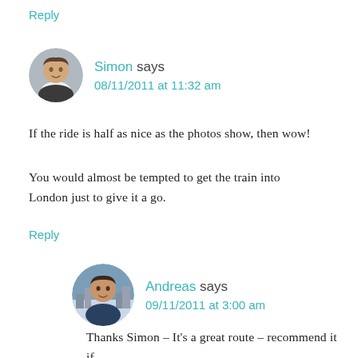Reply
Simon says
08/11/2011 at 11:32 am
If the ride is half as nice as the photos show, then wow!
You would almost be tempted to get the train into London just to give it a go.
Reply
Andreas says
09/11/2011 at 3:00 am
Thanks Simon – It's a great route – recommend it if we get any days of sunshine!